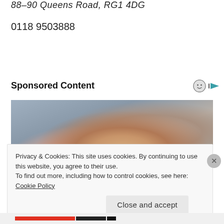88–90 Queens Road, RG1 4DG
0118 9503888
http://www.thelyndhurstreading.co.uk
Sponsored Content
[Figure (photo): A person sitting with knees drawn up, holding their feet, on a bed with grey bedding. Blurred/soft focus background.]
Privacy & Cookies: This site uses cookies. By continuing to use this website, you agree to their use.
To find out more, including how to control cookies, see here: Cookie Policy
Close and accept